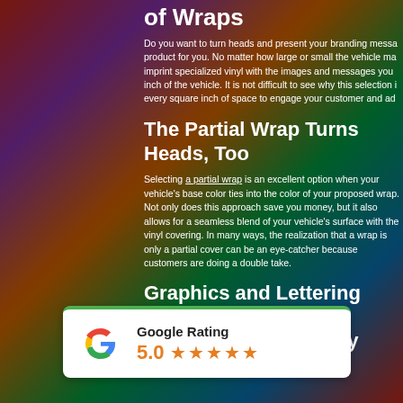of Wraps
Do you want to turn heads and present your branding message... product for you. No matter how large or small the vehicle may be, we can imprint specialized vinyl with the images and messages you want on every inch of the vehicle. It is not difficult to see why this selection uses every square inch of space to engage your customer and ad...
The Partial Wrap Turns Heads, Too
Selecting a partial wrap is an excellent option when your vehicle's base color ties into the color of your proposed wrap. Not only does this approach save you money, but it also allows for a seamless blend of your vehicle's surface with the vinyl covering. In many ways, the realization that a wrap is only a partial cover can be an eye-catcher because customers are doing a double take.
Graphics and Lettering Packages Communicate Expertly with
[Figure (logo): Google Rating widget showing 5.0 stars with Google G logo]
Spell out your company's name, contact information, and niche with your logo. Shrewd business owners like to underscore their message...